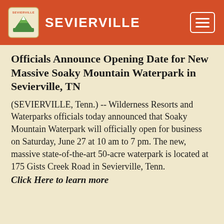SEVIERVILLE
Officials Announce Opening Date for New Massive Soaky Mountain Waterpark in Sevierville, TN
(SEVIERVILLE, Tenn.) -- Wilderness Resorts and Waterparks officials today announced that Soaky Mountain Waterpark will officially open for business on Saturday, June 27 at 10 am to 7 pm. The new, massive state-of-the-art 50-acre waterpark is located at 175 Gists Creek Road in Sevierville, Tenn.
Click Here to learn more